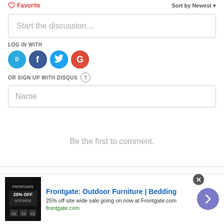Favorite
Sort by Newest
Start the discussion…
LOG IN WITH
[Figure (illustration): Four social login icons: Disqus (blue speech bubble with D), Facebook (dark blue circle with f), Twitter (light blue circle with bird), Google (red circle with G)]
OR SIGN UP WITH DISQUS ?
Name
Be the first to comment.
[Figure (infographic): Ad banner for Frontgate: Outdoor Furniture | Bedding. Shows product image, 25% off text, and a forward arrow button.]